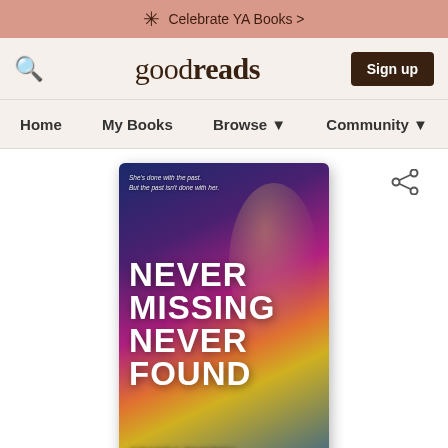Celebrate YA Books >
[Figure (screenshot): Goodreads website navigation bar with search icon, goodreads logo, and Sign up button]
Home   My Books   Browse▼   Community▼
[Figure (photo): Book cover of 'Never Missing Never Found' by Amanda Panitch. Colorful cover with a girl's face, text in bold white uppercase letters. Tagline: She's done with the past. But the past isn't done with her.]
Never Missing, Never Found
Amanda Panitch